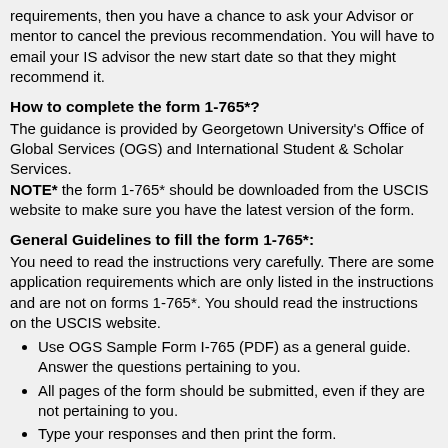requirements, then you have a chance to ask your Advisor or mentor to cancel the previous recommendation. You will have to email your IS advisor the new start date so that they might recommend it.
How to complete the form 1-765*?
The guidance is provided by Georgetown University's Office of Global Services (OGS) and International Student & Scholar Services.
NOTE* the form 1-765* should be downloaded from the USCIS website to make sure you have the latest version of the form.
General Guidelines to fill the form 1-765*:
You need to read the instructions very carefully. There are some application requirements which are only listed in the instructions and are not on forms 1-765*. You should read the instructions on the USCIS website.
Use OGS Sample Form I-765 (PDF) as a general guide. Answer the questions pertaining to you.
All pages of the form should be submitted, even if they are not pertaining to you.
Type your responses and then print the form.
You will have to sign in black ink on form 1-765*; types or stamped name is not allowed.
If a question does not apply to you, write N/A (not...